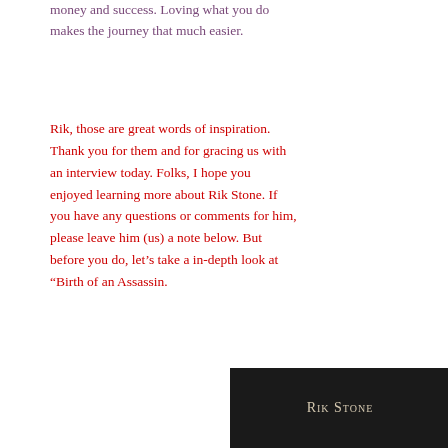money and success. Loving what you do makes the journey that much easier.
Rik, those are great words of inspiration. Thank you for them and for gracing us with an interview today. Folks, I hope you enjoyed learning more about Rik Stone. If you have any questions or comments for him, please leave him (us) a note below. But before you do, let’s take a in-depth look at “Birth of an Assassin.
[Figure (illustration): Book cover image with dark background showing the text 'Rik Stone' in small caps serif font]